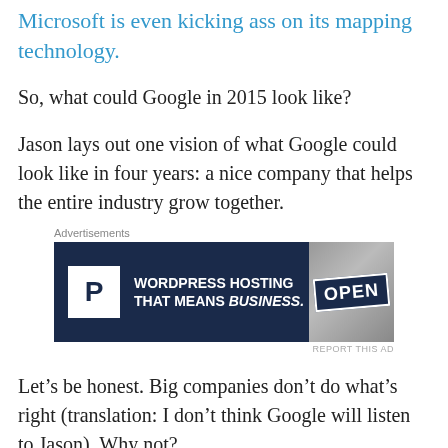Microsoft is even kicking ass on its mapping technology.
So, what could Google in 2015 look like?
Jason lays out one vision of what Google could look like in four years: a nice company that helps the entire industry grow together.
[Figure (other): Advertisement banner for WordPress Hosting - dark navy background with P logo, text 'WORDPRESS HOSTING THAT MEANS BUSINESS.' and an OPEN sign image]
Let’s be honest. Big companies don’t do what’s right (translation: I don’t think Google will listen to Jason). Why not?
Go into the heads of a big-company employee. Do